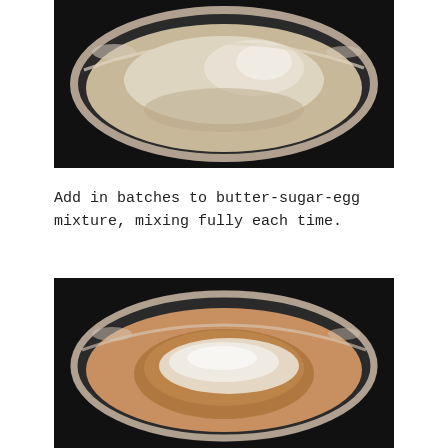[Figure (photo): Top-down view of a stainless steel mixing bowl with flour and baking powder on a dark background]
Add in batches to butter-sugar-egg mixture, mixing fully each time.
[Figure (photo): Top-down view of a stainless steel mixing bowl with a brown dough/butter mixture and white flour added on top, on a dark background]